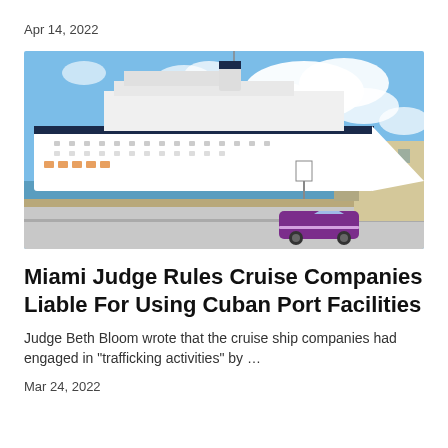Apr 14, 2022
[Figure (photo): A large white cruise ship docked at a port with a bright blue sky and clouds. A classic purple convertible car drives along a waterfront road in the foreground, with a tan colonial-style building visible on the right.]
Miami Judge Rules Cruise Companies Liable For Using Cuban Port Facilities
Judge Beth Bloom wrote that the cruise ship companies had engaged in "trafficking activities" by …
Mar 24, 2022